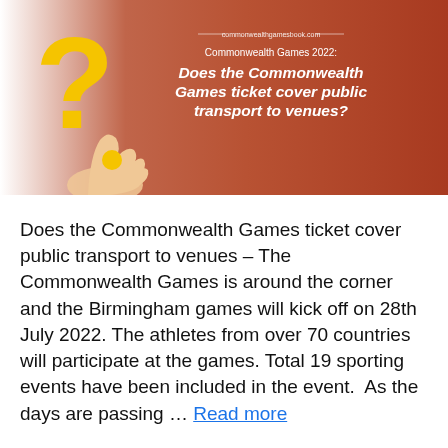[Figure (infographic): Banner image with a reddish-brown gradient background. A large yellow question mark on the left side with a hand holding the dot. On the right side, white text reads: commonwealthgamesbook.com / Commonwealth Games 2022: / Does the Commonwealth Games ticket cover public transport to venues?]
Does the Commonwealth Games ticket cover public transport to venues – The Commonwealth Games is around the corner and the Birmingham games will kick off on 28th July 2022. The athletes from over 70 countries will participate at the games. Total 19 sporting events have been included in the event.  As the days are passing … Read more